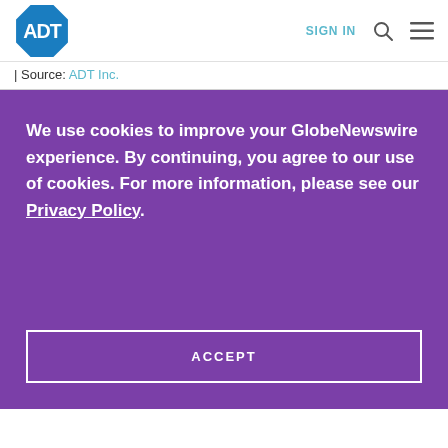ADT | SIGN IN
| Source: ADT Inc.
We use cookies to improve your GlobeNewswire experience. By continuing, you agree to our use of cookies. For more information, please see our Privacy Policy.
ACCEPT